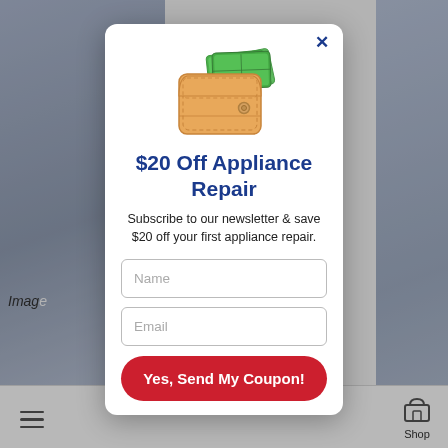[Figure (screenshot): Background webpage showing laundry/pillow product images on a dark blue background, partially obscured by a modal popup. Bottom navigation bar visible with hamburger menu and Shop icon.]
[Figure (illustration): A cartoon wallet icon with green banknotes sticking out the top, tan/brown leather wallet body with stitching details and a button clasp.]
$20 Off Appliance Repair
Subscribe to our newsletter & save $20 off your first appliance repair.
[Figure (other): Name input field (empty, placeholder text 'Name')]
[Figure (other): Email input field (empty, placeholder text 'Email')]
Yes, Send My Coupon!